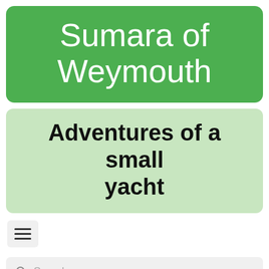Sumara of Weymouth
Adventures of a small yacht
[Figure (other): Hamburger menu button icon with three horizontal lines]
Search...
I've been sorting